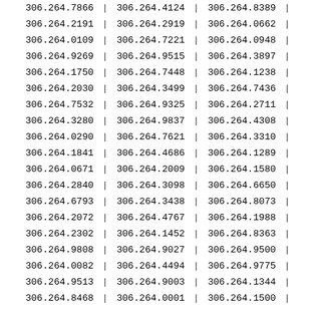| 306.264.7866 | | | 306.264.4124 | | | 306.264.8389 | | |
| 306.264.2191 | | | 306.264.2919 | | | 306.264.0662 | | |
| 306.264.0109 | | | 306.264.7221 | | | 306.264.0948 | | |
| 306.264.9269 | | | 306.264.9515 | | | 306.264.3897 | | |
| 306.264.1750 | | | 306.264.7448 | | | 306.264.1238 | | |
| 306.264.2030 | | | 306.264.3499 | | | 306.264.7436 | | |
| 306.264.7532 | | | 306.264.9325 | | | 306.264.2711 | | |
| 306.264.3280 | | | 306.264.9837 | | | 306.264.4308 | | |
| 306.264.0290 | | | 306.264.7621 | | | 306.264.3310 | | |
| 306.264.1841 | | | 306.264.4686 | | | 306.264.1289 | | |
| 306.264.0671 | | | 306.264.2009 | | | 306.264.1580 | | |
| 306.264.2840 | | | 306.264.3098 | | | 306.264.6650 | | |
| 306.264.6793 | | | 306.264.3438 | | | 306.264.8073 | | |
| 306.264.2072 | | | 306.264.4767 | | | 306.264.1988 | | |
| 306.264.2302 | | | 306.264.1452 | | | 306.264.8363 | | |
| 306.264.9808 | | | 306.264.9027 | | | 306.264.9500 | | |
| 306.264.0082 | | | 306.264.4494 | | | 306.264.9775 | | |
| 306.264.9513 | | | 306.264.9003 | | | 306.264.1344 | | |
| 306.264.8468 | | | 306.264.0001 | | | 306.264.1500 | | |